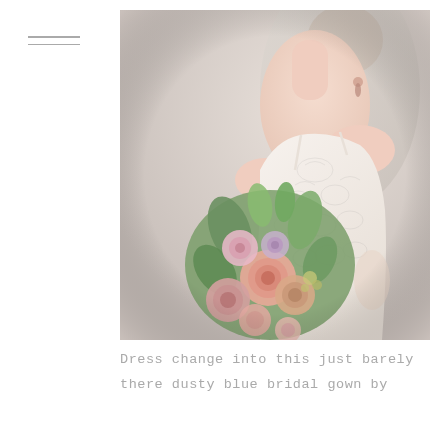[Figure (photo): Close-up wedding photo of a bride in a lace spaghetti-strap gown holding a lush bouquet of pink, mauve, and peach roses and wildflowers with green foliage. A groom in a light suit is partially visible behind her. Soft, romantic, light-toned film photography aesthetic.]
Dress change into this just barely there dusty blue bridal gown by